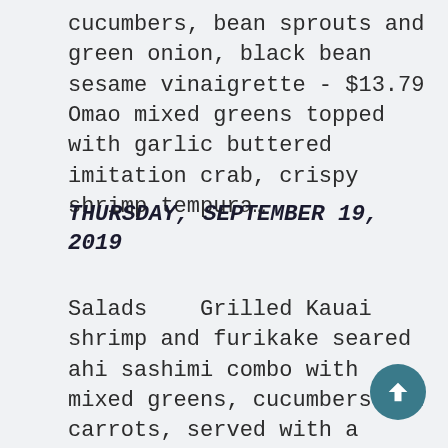cucumbers, bean sprouts and green onion, black bean sesame vinaigrette - $13.79 Omao mixed greens topped with garlic buttered imitation crab, crispy shrimp tempura…
THURSDAY, SEPTEMBER 19, 2019
Salads    Grilled Kauai shrimp and furikake seared ahi sashimi combo with mixed greens, cucumbers and carrots, served with a roasted garlic and miso dressing - $14.29 Pulehu chicken over Kailani Farms organic lettuces, with seared tofu and a roasted corn, tomato, pepper and red onion relish...